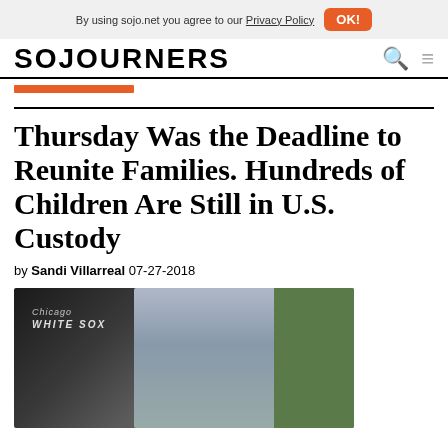By using sojo.net you agree to our Privacy Policy  OK!
SOJOURNERS
Thursday Was the Deadline to Reunite Families. Hundreds of Children Are Still in U.S. Custody
by Sandi Villarreal 07-27-2018
[Figure (photo): A woman seated, wearing a denim jacket, holding a document, with a Chicago White Sox backdrop visible in the background. Green background visible at right.]